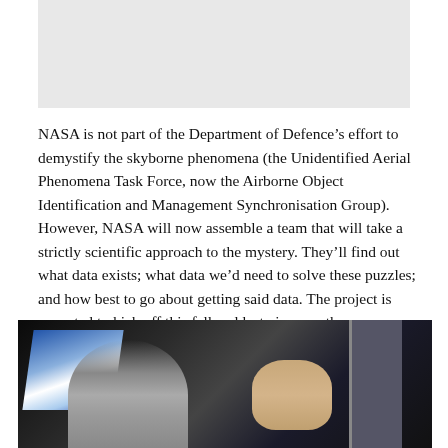[Figure (photo): Photo placeholder at top of page, light gray background]
NASA is not part of the Department of Defence’s effort to demystify the skyborne phenomena (the Unidentified Aerial Phenomena Task Force, now the Airborne Object Identification and Management Synchronisation Group). However, NASA will now assemble a team that will take a strictly scientific approach to the mystery. They’ll find out what data exists; what data we’d need to solve these puzzles; and how best to go about getting said data. The project is expected to kick off this fall and last nine months.
[Figure (photo): Photo of a person (NASA official) speaking or presenting, with a bright screen/display in the background, dark interior setting]